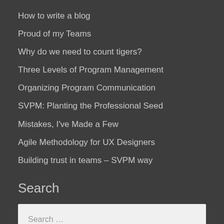How to write a blog
Proud of my Teams
Why do we need to count tigers?
Three Levels of Program Management
Organizing Program Communication
SVPM: Planting the Professional Seed
Mistakes, I've Made a Few
Agile Methodology for UX Designers
Building trust in teams – SVPM way
Search
Search …
Archives